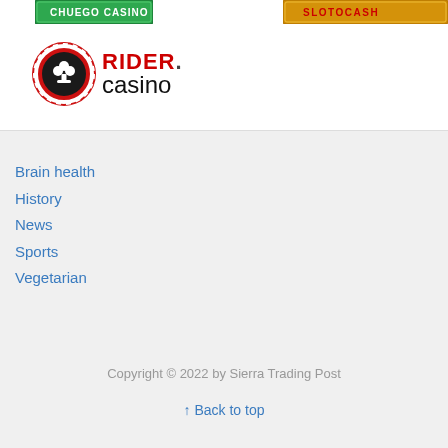[Figure (logo): Chuego Casino logo (green banner with white text) - partially visible at top left]
[Figure (logo): Slotocash Casino logo (golden/orange banner with red text) - partially visible at top right]
[Figure (logo): Rider Casino logo: red casino chip with club symbol on left, RIDER in red bold letters with comma, casino in black below]
Brain health
History
News
Sports
Vegetarian
Copyright © 2022 by Sierra Trading Post
↑ Back to top